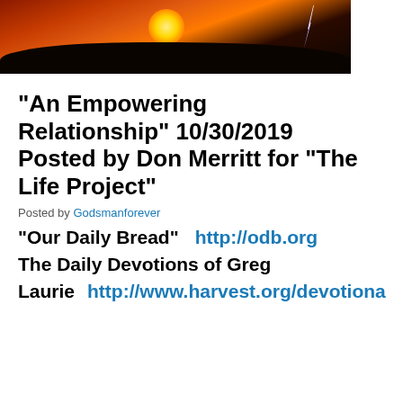[Figure (photo): Sunset/storm photo with orange-red sky, silhouetted trees and hills, sun glowing in center, lightning bolt on right side.]
“An Empowering Relationship” 10/30/2019 Posted by Don Merritt for “The Life Project”
Posted by Godsmanforever
“Our Daily Bread”    http://odb.org
The Daily Devotions of Greg
Laurie    http://www.harvest.org/devotiona